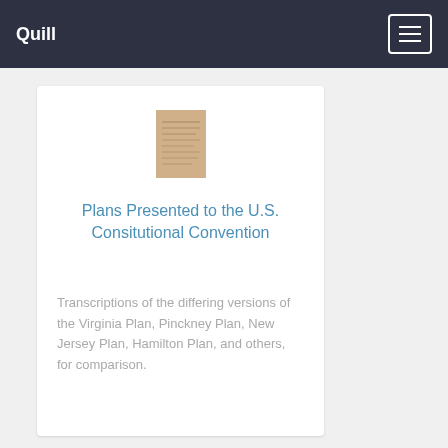Quill
[Figure (illustration): Thumbnail image of a historical document page, aged parchment appearance, rectangular portrait orientation]
Plans Presented to the U.S. Consitutional Convention
Transcriptions of the differing versions of the Virginia Plan, Pinckney Plan, New Jersey Plan, Hamilton Plan, and others, for comparison.